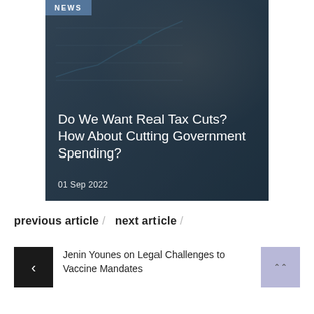[Figure (photo): Hero image of a businessman in a suit pointing a pen at a digital chart overlay, with a 'NEWS' badge in the top-left corner. Overlaid text reads the article title and date.]
Do We Want Real Tax Cuts? How About Cutting Government Spending?
01 Sep 2022
previous article /  next article /
Jenin Younes on Legal Challenges to Vaccine Mandates